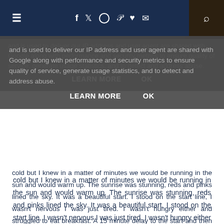≡  f  ✓  ⊙  ℗  ♥  ✉  🔍
and is used to deliver our IP address and user agent are shared with Google along with performance and security metrics to ensure quality of service, generate usage statistics, and to detect and address abuse.
LEARN MORE   OK
cold but I knew in a matter of minutes we would be running in the sun and would warm up. The sunrise was stunning, reds and pinks lined the sky. It was a beautiful start. I stood on the start line, I wasn't nervous I was just tired. I wasn't hungry either and struggled to eat breakfast. A 15 minute delay to the start and then we were off.
A small out and back section round the roads of Manchester to start with before